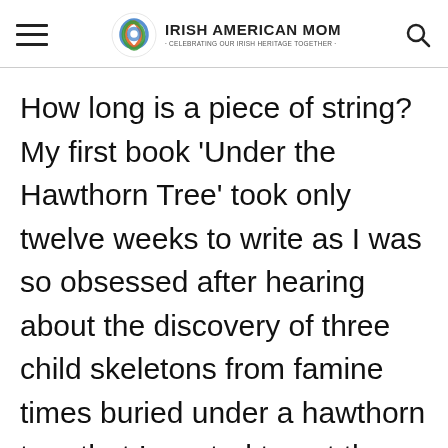Irish American Mom · Celebrating Our Irish Heritage Together
How long is a piece of string? My first book ‘Under the Hawthorn Tree’ took only twelve weeks to write as I was so obsessed after hearing about the discovery of three child skeletons from famine times buried under a hawthorn tree that I wanted to get the story on to the page.